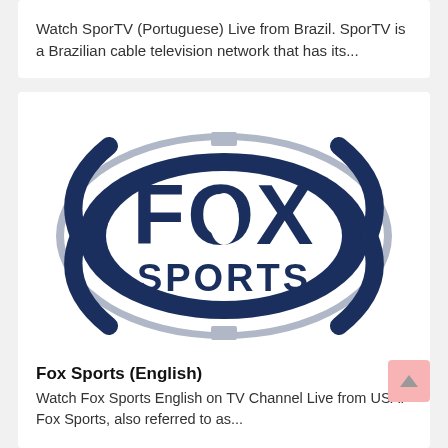Watch SporTV (Portuguese) Live from Brazil. SporTV is a Brazilian cable television network that has its...
[Figure (logo): Fox Sports logo: dark navy blue oval shape with 'FOX' in large bold letters and 'SPORTS' below, surrounded by decorative arc elements, on white background]
Fox Sports (English)
Watch Fox Sports English on TV Channel Live from USA. Fox Sports, also referred to as...